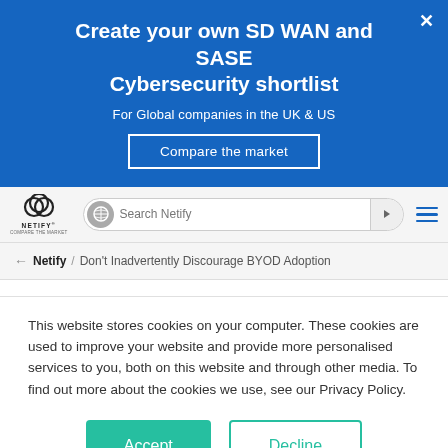Create your own SD WAN and SASE Cybersecurity shortlist
For Global companies in the UK & US
Compare the market
[Figure (logo): Netify logo with interlocking rings and text NETIFY COMPARE THE MARKET]
Search Netify
Netify / Don't Inadvertently Discourage BYOD Adoption
This website stores cookies on your computer. These cookies are used to improve your website and provide more personalised services to you, both on this website and through other media. To find out more about the cookies we use, see our Privacy Policy.
Accept
Decline